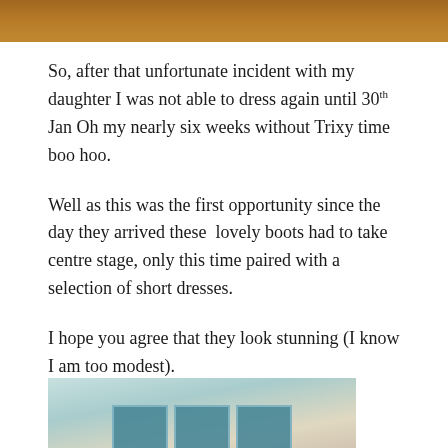[Figure (photo): Top portion of a photo with warm brown/wood tone background color, cropped at top of page]
So, after that unfortunate incident with my daughter I was not able to dress again until 30th Jan Oh my nearly six weeks without Trixy time boo hoo.
Well as this was the first opportunity since the day they arrived these  lovely boots had to take centre stage, only this time paired with a selection of short dresses.
I hope you agree that they look stunning (I know I am too modest).
[Figure (photo): Bottom portion of a photo showing a person with teal/blue decorative tile background, partially cropped at bottom of page]